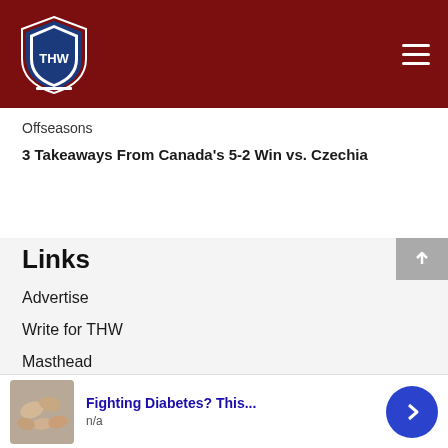THW - The Hockey Writers
Offseasons
3 Takeaways From Canada's 5-2 Win vs. Czechia
Links
Advertise
Write for THW
Masthead
Hockey Newsletter
[Figure (infographic): Ad banner: Fighting Diabetes? This... n/a with cashews image and blue arrow button]